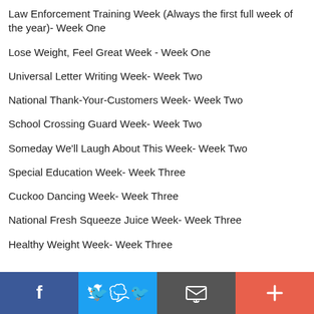Law Enforcement Training Week (Always the first full week of the year)- Week One
Lose Weight, Feel Great Week - Week One
Universal Letter Writing Week- Week Two
National Thank-Your-Customers Week- Week Two
School Crossing Guard Week- Week Two
Someday We'll Laugh About This Week- Week Two
Special Education Week- Week Three
Cuckoo Dancing Week- Week Three
National Fresh Squeeze Juice Week- Week Three
Healthy Weight Week- Week Three
Social share bar: Facebook, Twitter, Email, Add